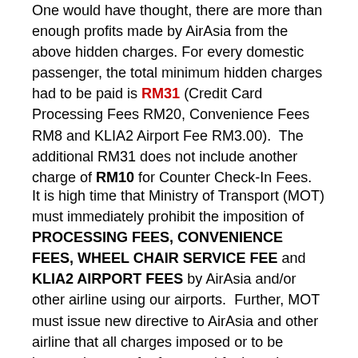One would have thought, there are more than enough profits made by AirAsia from the above hidden charges. For every domestic passenger, the total minimum hidden charges had to be paid is RM31 (Credit Card Processing Fees RM20, Convenience Fees RM8 and KLIA2 Airport Fee RM3.00).  The additional RM31 does not include another charge of RM10 for Counter Check-In Fees.
It is high time that Ministry of Transport (MOT) must immediately prohibit the imposition of PROCESSING FEES, CONVENIENCE FEES, WHEEL CHAIR SERVICE FEE and KLIA2 AIRPORT FEES by AirAsia and/or other airline using our airports.  Further, MOT must issue new directive to AirAsia and other airline that all charges imposed or to be imposed except for fares and fuel surcharge must get prior approval from MOT.